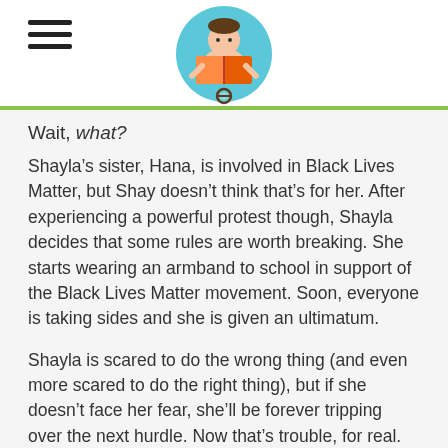Wait, what?
Shayla’s sister, Hana, is involved in Black Lives Matter, but Shay doesn’t think that’s for her. After experiencing a powerful protest though, Shayla decides that some rules are worth breaking. She starts wearing an armband to school in support of the Black Lives Matter movement. Soon, everyone is taking sides and she is given an ultimatum.
Shayla is scared to do the wrong thing (and even more scared to do the right thing), but if she doesn’t face her fear, she’ll be forever tripping over the next hurdle. Now that’s trouble, for real.
Told from Shayla’s point of view, A Good Kind of Trouble affecting her joining the Black Lives Matter movement and